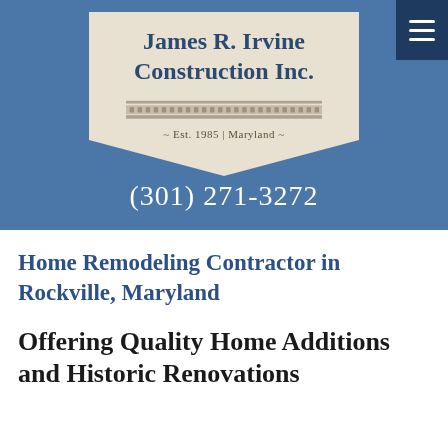[Figure (logo): James R. Irvine Construction Inc. logo with shield/crest shape, beige background, decorative cornice, Est. 1985 Maryland, on blue header background with phone number (301) 271-3272]
Home Remodeling Contractor in Rockville, Maryland
Offering Quality Home Additions and Historic Renovations